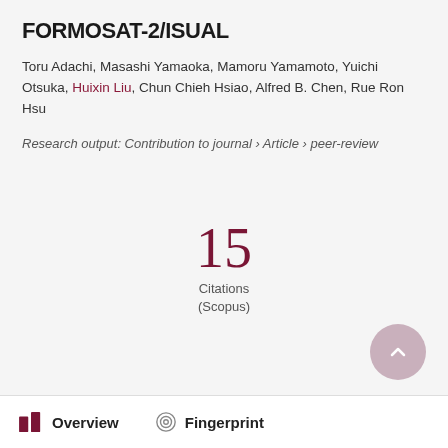FORMOSAT-2/ISUAL
Toru Adachi, Masashi Yamaoka, Mamoru Yamamoto, Yuichi Otsuka, Huixin Liu, Chun Chieh Hsiao, Alfred B. Chen, Rue Ron Hsu
Research output: Contribution to journal › Article › peer-review
15 Citations (Scopus)
Overview   Fingerprint